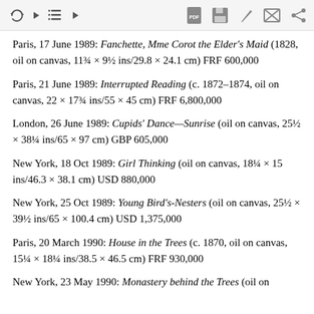[toolbar icons]
Paris, 17 June 1989: Fanchette, Mme Corot the Elder's Maid (1828, oil on canvas, 11¾ × 9½ ins/29.8 × 24.1 cm) FRF 600,000
Paris, 21 June 1989: Interrupted Reading (c. 1872–1874, oil on canvas, 22 × 17¾ ins/55 × 45 cm) FRF 6,800,000
London, 26 June 1989: Cupids' Dance—Sunrise (oil on canvas, 25½ × 38¼ ins/65 × 97 cm) GBP 605,000
New York, 18 Oct 1989: Girl Thinking (oil on canvas, 18¼ × 15 ins/46.3 × 38.1 cm) USD 880,000
New York, 25 Oct 1989: Young Bird's-Nesters (oil on canvas, 25½ × 39½ ins/65 × 100.4 cm) USD 1,375,000
Paris, 20 March 1990: House in the Trees (c. 1870, oil on canvas, 15¼ × 18¼ ins/38.5 × 46.5 cm) FRF 930,000
New York, 23 May 1990: Monastery behind the Trees (oil on…